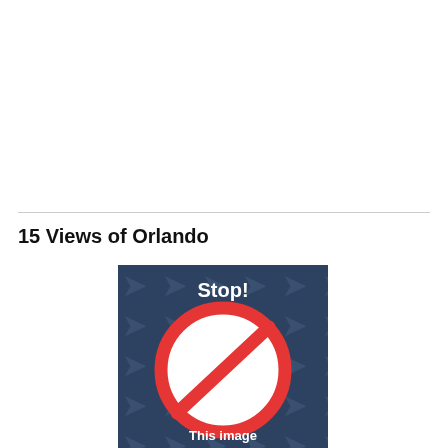15 Views of Orlando
[Figure (illustration): A 'Stop!' image placeholder with a dark blue tiled background featuring repeating stylized arrow/key patterns. A red prohibition circle-slash symbol is centered on a white circle. White bold text reads 'Stop!' at the top and 'This image' partially visible at the bottom of the image, indicating the image has been blocked or cannot be displayed.]